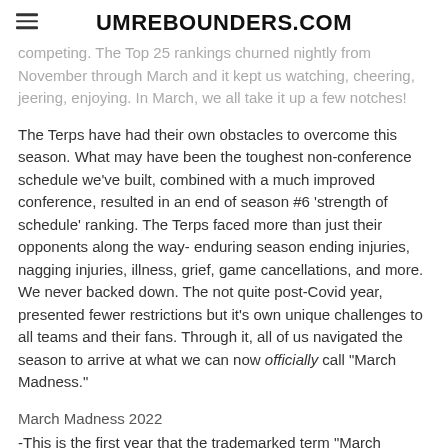UMREBOUNDERS.COM
competing. The Top 25 rankings churned nightly from November through March and it kept us watching, cheering, jeering, enjoying. In March, we all take it up a few notches!
The Terps have had their own obstacles to overcome this season. What may have been the toughest non-conference schedule we've built, combined with a much improved conference, resulted in an end of season #6 'strength of schedule' ranking. The Terps faced more than just their opponents along the way- enduring season ending injuries, nagging injuries, illness, grief, game cancellations, and more. We never backed down. The not quite post-Covid year, presented fewer restrictions but it's own unique challenges to all teams and their fans. Through it, all of us navigated the season to arrive at what we can now officially call "March Madness."
March Madness 2022
-This is the first year that the trademarked term "March Madness" will be used for the NCAA Women's Basketball Tournament
-The top 16 seeds have the option to host the first and second